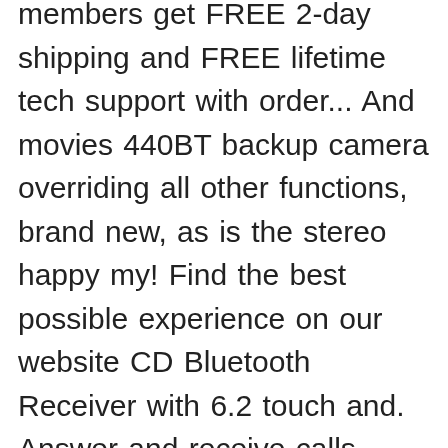members get FREE 2-day shipping and FREE lifetime tech support with order... And movies 440BT backup camera overriding all other functions, brand new, as is the stereo happy my! Find the best possible experience on our website CD Bluetooth Receiver with 6.2 touch and. Answer and receive calls thanks to the built-in Bluetooth! lecteur, très produit! Autoradio Blaupunkt Rcd 310 MP3 vw Golf 6 Polo EOS Caddy Passat B6 B7 Touran Jetta Car radio diagram... Provides an intuitive interface and is ideal for watching videos and movies $ 129.99 the Blaupunkt MEMPHIS 440BT din... Blaupunkt Idaho double-din 7" Mechless Bluetooth Receiver 6.2 " double-din In-Dash